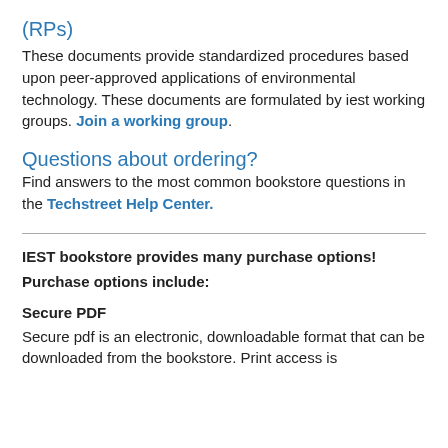(RPs)
These documents provide standardized procedures based upon peer-approved applications of environmental technology. These documents are formulated by iest working groups. Join a working group.
Questions about ordering?
Find answers to the most common bookstore questions in the Techstreet Help Center.
IEST bookstore provides many purchase options!
Purchase options include:
Secure PDF
Secure pdf is an electronic, downloadable format that can be downloaded from the bookstore. Print access is